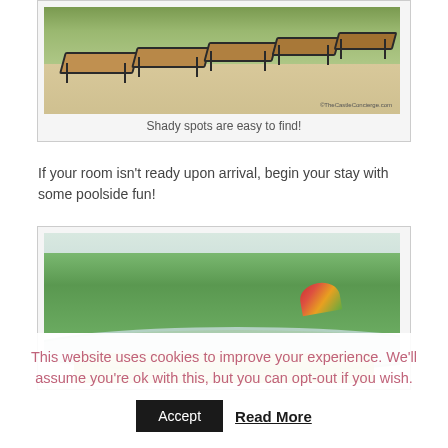[Figure (photo): Photo of lounge chairs by a pool area with green foliage in background, watermark reading ©TheCastleConcierge.com]
Shady spots are easy to find!
If your room isn't ready upon arrival, begin your stay with some poolside fun!
[Figure (photo): Photo of a tropical poolside drink with fruit garnish and colorful umbrella, green trees in background]
This website uses cookies to improve your experience. We'll assume you're ok with this, but you can opt-out if you wish.